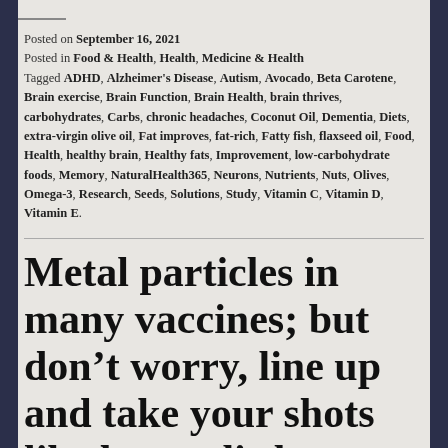Posted on September 16, 2021
Posted in Food & Health, Health, Medicine & Health
Tagged ADHD, Alzheimer's Disease, Autism, Avocado, Beta Carotene, Brain exercise, Brain Function, Brain Health, brain thrives, carbohydrates, Carbs, chronic headaches, Coconut Oil, Dementia, Diets, extra-virgin olive oil, Fat improves, fat-rich, Fatty fish, flaxseed oil, Food, Health, healthy brain, Healthy fats, Improvement, low-carbohydrate foods, Memory, NaturalHealth365, Neurons, Nutrients, Nuts, Olives, Omega-3, Research, Seeds, Solutions, Study, Vitamin C, Vitamin D, Vitamin E.
Metal particles in many vaccines; but don't worry, line up and take your shots like happy little robots | Jon Rappoport's